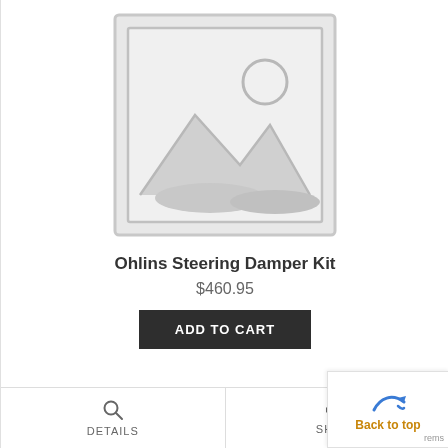[Figure (illustration): Placeholder image for product — grey square with mountain landscape and sun icon outline]
Ohlins Steering Damper Kit
$460.95
ADD TO CART
DETAILS
SHARE
Back to top